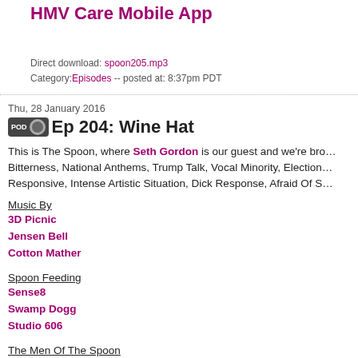HMV Care Mobile App
Direct download: spoon205.mp3
Category: Episodes -- posted at: 8:37pm PDT
Thu, 28 January 2016
Ep 204: Wine Hat
This is The Spoon, where Seth Gordon is our guest and we're bro… Bitterness, National Anthems, Trump Talk, Vocal Minority, Election… Responsive, Intense Artistic Situation, Dick Response, Afraid Of S…
Music By
3D Picnic
Jensen Bell
Cotton Mather
Spoon Feeding
Sense8
Swamp Dogg
Studio 606
The Men Of The Spoon
Robbie Rist